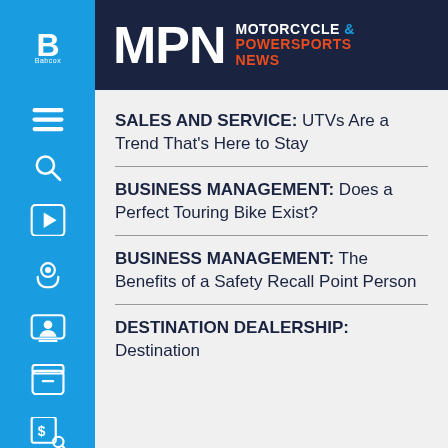MPN MOTORCYCLE & POWERSPORTS NEWS
SALES AND SERVICE: UTVs Are a Trend That's Here to Stay
BUSINESS MANAGEMENT: Does a Perfect Touring Bike Exist?
BUSINESS MANAGEMENT: The Benefits of a Safety Recall Point Person
DESTINATION DEALERSHIP: Destination